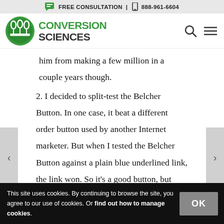FREE CONSULTATION | 888-961-6604
[Figure (logo): Conversion Sciences logo with green circle icon and green/dark text]
him from making a few million in a couple years though.
2. I decided to split-test the Belcher Button. In one case, it beat a different order button used by another Internet marketer. But when I tested the Belcher Button against a plain blue underlined link, the link won. So it's a good button, but definitely test it. It only took me two
This site uses cookies. By continuing to browse the site, you agree to our use of cookies. Or find out how to manage cookies.